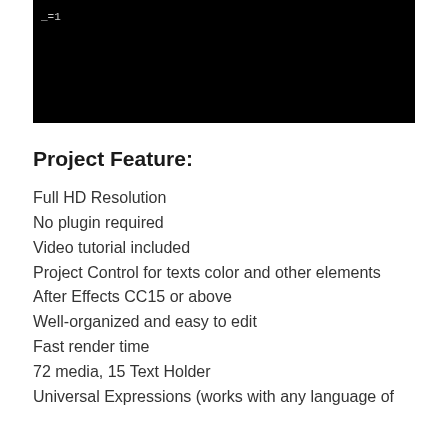[Figure (screenshot): Black terminal/screen area with text '_=1' visible in top-left corner]
Project Feature:
Full HD Resolution
No plugin required
Video tutorial included
Project Control for texts color and other elements
After Effects CC15 or above
Well-organized and easy to edit
Fast render time
72 media, 15 Text Holder
Universal Expressions (works with any language of